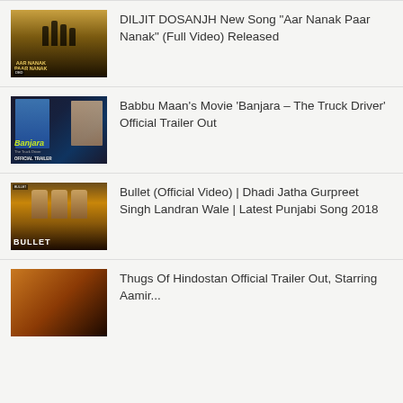DILJIT DOSANJH New Song “Aar Nanak Paar Nanak” (Full Video) Released
Babbu Maan’s Movie ‘Banjara – The Truck Driver’ Official Trailer Out
Bullet (Official Video) | Dhadi Jatha Gurpreet Singh Landran Wale | Latest Punjabi Song 2018
Thugs Of Hindostan Official Trailer Out, Starring Aamir...